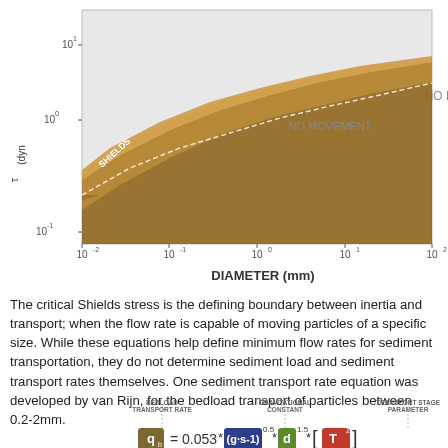[Figure (continuous-plot): Log-log plot of bed shear stress τ₀ (dynes/cm²) vs Diameter (mm). Shows Shields curve boundary between MOVEMENT (brown/orange filled area) and NO MOVEMENT (gray area). Y-axis labeled τ₀ (dyn...) with tick marks at 10⁻¹, 10⁰, 10¹. X-axis labeled DIAMETER (mm) with ticks at 10⁻², 10⁻¹, 10⁰, 10¹, 10². 'SHIELDS' label in white on brown curve. 'NO MOVEMENT' text in gray area.]
The critical Shields stress is the defining boundary between inertia and transport; when the flow rate is capable of moving particles of a specific size. While these equations help define minimum flow rates for sediment transportation, they do not determine sediment load and sediment transport rates themselves. One sediment transport rate equation was developed by van Rijn, for the bedload transport of particles between 0.2-2mm.
[Figure (infographic): Van Rijn bedload transport equation infographic showing labeled components: BEDLOAD TRANSPORT RATE, GRAVITATIONAL CONSTANT, TRANSPORT STAGE PARAMETER. Equation: q_b = 0.053 * (g·s-1)^0.5 * d^1.5 * [T^2.1] with color-coded boxes for each variable.]